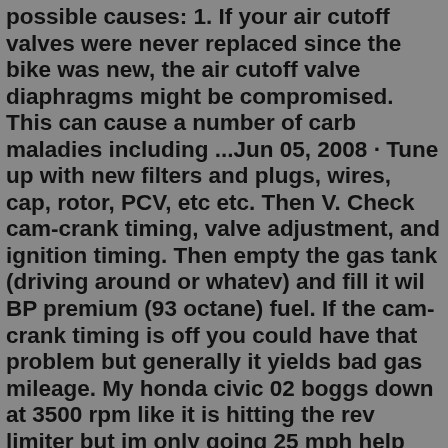possible causes: 1. If your air cutoff valves were never replaced since the bike was new, the air cutoff valve diaphragms might be compromised. This can cause a number of carb maladies including ...Jun 05, 2008 · Tune up with new filters and plugs, wires, cap, rotor, PCV, etc etc. Then V. Check cam-crank timing, valve adjustment, and ignition timing. Then empty the gas tank (driving around or whatev) and fill it wil BP premium (93 octane) fuel. If the cam-crank timing is off you could have that problem but generally it yields bad gas mileage. My honda civic 02 boggs down at 3500 rpm like it is hitting the rev limiter but im only going 25 mph help setting a - Answered by a verified Mechanic for Honda ... rpm it feels like it is hitting the rev limiter both in neutral and while driving sometimes it stumbles when first accelerating but boggs down at 3500 rpms they have checked also the ...Aug 02, 2012 · My 1970 CB450 was running just great. Then it started to bog down when giving it gas. Bad at a start from a stop sign. Bad when trying to accelerate at any speed. I know it is the right cylinder